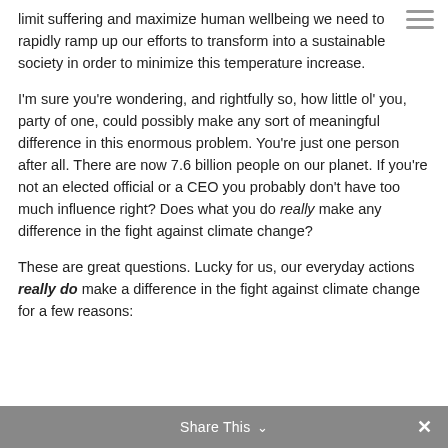limit suffering and maximize human wellbeing we need to rapidly ramp up our efforts to transform into a sustainable society in order to minimize this temperature increase.
I'm sure you're wondering, and rightfully so, how little ol' you, party of one, could possibly make any sort of meaningful difference in this enormous problem. You're just one person after all. There are now 7.6 billion people on our planet. If you're not an elected official or a CEO you probably don't have too much influence right? Does what you do really make any difference in the fight against climate change?
These are great questions. Lucky for us, our everyday actions really do make a difference in the fight against climate change for a few reasons:
Share This ∨